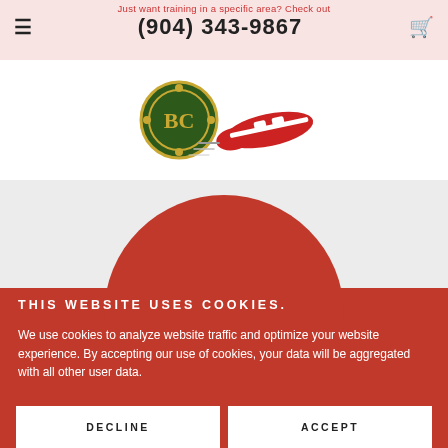Just want training in a specific area? Check out
(904) 343-9867
[Figure (logo): Company logo with green and gold circular emblem and red high-speed train illustration]
THIS WEBSITE USES COOKIES.
We use cookies to analyze website traffic and optimize your website experience. By accepting our use of cookies, your data will be aggregated with all other user data.
DECLINE
ACCEPT